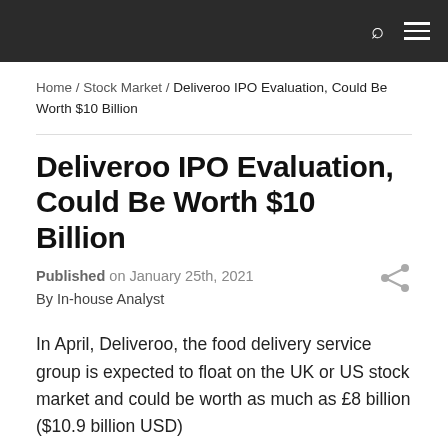Home / Stock Market / Deliveroo IPO Evaluation, Could Be Worth $10 Billion
Deliveroo IPO Evaluation, Could Be Worth $10 Billion
Published on January 25th, 2021
By In-house Analyst
In April, Deliveroo, the food delivery service group is expected to float on the UK or US stock market and could be worth as much as £8 billion ($10.9 billion USD)
The company has recently received a further £133